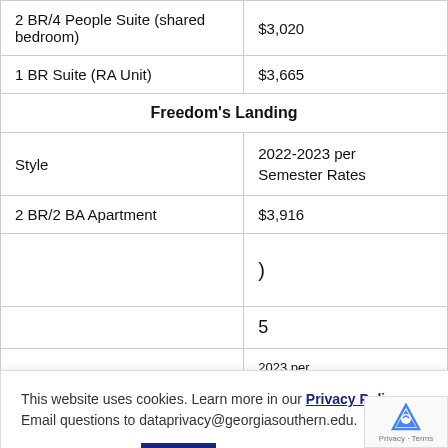| Style | 2022-2023 per Semester Rates |
| --- | --- |
| 2 BR/4 People Suite (shared bedroom) | $3,020 |
| 1 BR Suite (RA Unit) | $3,665 |
| Freedom's Landing |  |
| Style | 2022-2023 per Semester Rates |
| 2 BR/2 BA Apartment | $3,916 |
| Unconnected Suite | $2,810 |
This website uses cookies. Learn more in our Privacy Policy. Email questions to dataprivacy@georgiasouthern.edu.